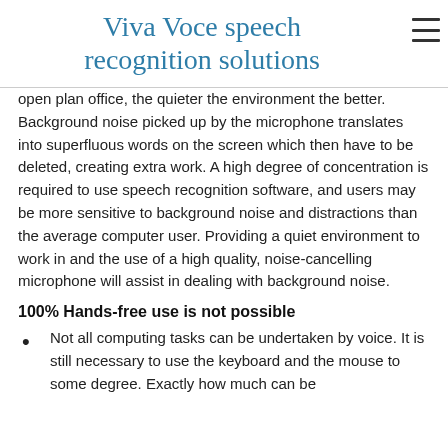Viva Voce speech recognition solutions
open plan office, the quieter the environment the better. Background noise picked up by the microphone translates into superfluous words on the screen which then have to be deleted, creating extra work. A high degree of concentration is required to use speech recognition software, and users may be more sensitive to background noise and distractions than the average computer user. Providing a quiet environment to work in and the use of a high quality, noise-cancelling microphone will assist in dealing with background noise.
100% Hands-free use is not possible
Not all computing tasks can be undertaken by voice. It is still necessary to use the keyboard and the mouse to some degree. Exactly how much can be